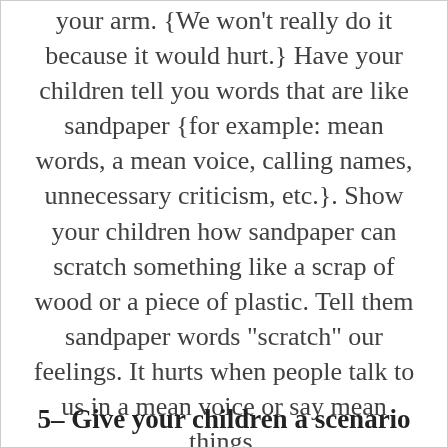your arm. {We won't really do it because it would hurt.} Have your children tell you words that are like sandpaper {for example: mean words, a mean voice, calling names, unnecessary criticism, etc.}. Show your children how sandpaper can scratch something like a scrap of wood or a piece of plastic. Tell them sandpaper words "scratch" our feelings. It hurts when people talk to us in a mean voice or say mean things.
5– Give your children a scenario